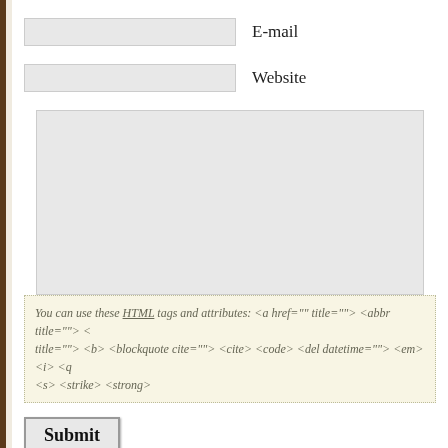E-mail
Website
You can use these HTML tags and attributes: <a href="" title=""> <abbr title=""> < title=""> <b> <blockquote cite=""> <cite> <code> <del datetime=""> <em> <i> <q <s> <strike> <strong>
Submit